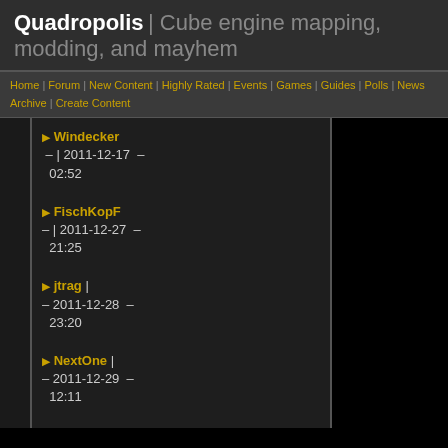Quadropolis | Cube engine mapping, modding, and mayhem
Home | Forum | New Content | Highly Rated | Events | Games | Guides | Polls | News Archive | Create Content
▶ Windecker | – | 2011-12-17 – 02:52
▶ FischKopF – | 2011-12-27 – 21:25
▶ jtrag | – 2011-12-28 – 23:20
▶ NextOne | – 2011-12-29 – 12:11
▶ Drekow | – 2011-12-29 – 13:01
▶ OpTic |